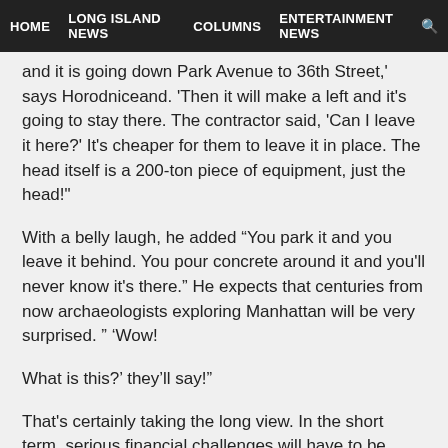HOME   LONG ISLAND NEWS   COLUMNS   ENTERTAINMENT NEWS
and it is going down Park Avenue to 36th Street,' says Horodn iceand. 'Then it will make a left and it's going to stay there. The contractor said, 'Can I leave it here?' It's cheaper for them to leave it in place. The head itself is a 200-ton piece of equipment, just the head!'
With a belly laugh, he added “You park it and you leave it behind. You pour concrete around it and you'll never know it's there.” He expects that centuries from now archaeologists exploring Manhattan will be very surprised. “ ‘Wow!
What is this?' they’ll say!”
That's certainly taking the long view. In the short term, serious financial challenges will have to be overcome. The question is will the project even be ready by 2016.
At the Grand Central entrance to the East Side Access construction site is a bright blue and white MTA sign featuring a black and white photo of workers positioning the TBM there, all beneath the heading “What’s happening here.” Its explanation was that “MTA Construction projects are making mass transit safe, more reliable